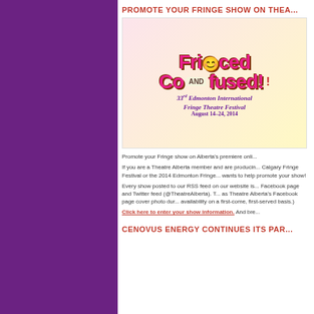PROMOTE YOUR FRINGE SHOW ON THEA...
[Figure (illustration): Fringed and Confused logo for the 33rd Edmonton International Fringe Theatre Festival, August 14-24, 2014. Pink bubbly letters with smiley face and colorful cartoon style.]
Promote your Fringe show on Alberta's premiere onli...
If you are a Theatre Alberta member and are producin... Calgary Fringe Festival or the 2014 Edmonton Fringe... wants to help promote your show!
Every show posted to our RSS feed on our website is... Facebook page and Twitter feed (@TheatreAlberta). T... as Theatre Alberta's Facebook page cover photo dur... availability on a first-come, first-served basis.)
Click here to enter your show information. And bre...
CENOVUS ENERGY CONTINUES ITS PAR...